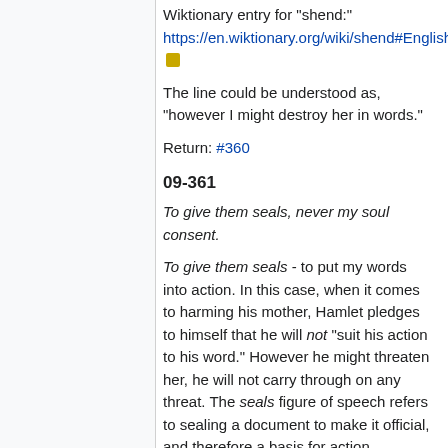Wiktionary entry for "shend:" https://en.wiktionary.org/wiki/shend#English
The line could be understood as, "however I might destroy her in words."
Return: #360
09-361
To give them seals, never my soul consent.
To give them seals - to put my words into action. In this case, when it comes to harming his mother, Hamlet pledges to himself that he will not "suit his action to his word." However he might threaten her, he will not carry through on any threat. The seals figure of speech refers to sealing a document to make it official, and therefore a basis for action.
soul - spirit. Hamlet is pledging he will never have the spirit to harm his mother.
Return: #361